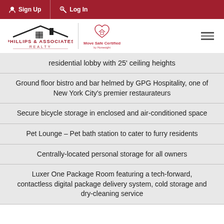Sign Up  Log In
[Figure (logo): Phillips & Associates Realty logo with house icon, vertical divider, and Move Safe Certified by Homesight badge]
residential lobby with 25' ceiling heights
Ground floor bistro and bar helmed by GPG Hospitality, one of New York City's premier restaurateurs
Secure bicycle storage in enclosed and air-conditioned space
Pet Lounge – Pet bath station to cater to furry residents
Centrally-located personal storage for all owners
Luxer One Package Room featuring a tech-forward, contactless digital package delivery system, cold storage and dry-cleaning service